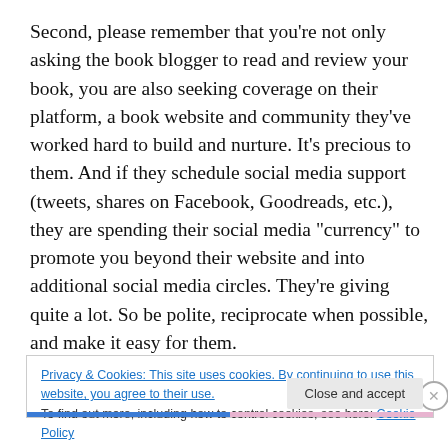Second, please remember that you're not only asking the book blogger to read and review your book, you are also seeking coverage on their platform, a book website and community they've worked hard to build and nurture. It's precious to them. And if they schedule social media support (tweets, shares on Facebook, Goodreads, etc.), they are spending their social media “currency” to promote you beyond their website and into additional social media circles. They’re giving quite a lot. So be polite, reciprocate when possible, and make it easy for them.
Privacy & Cookies: This site uses cookies. By continuing to use this website, you agree to their use.
To find out more, including how to control cookies, see here: Cookie Policy